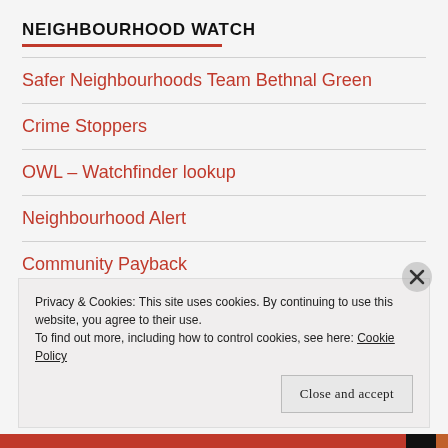NEIGHBOURHOOD WATCH
Safer Neighbourhoods Team Bethnal Green
Crime Stoppers
OWL – Watchfinder lookup
Neighbourhood Alert
Community Payback
Privacy & Cookies: This site uses cookies. By continuing to use this website, you agree to their use. To find out more, including how to control cookies, see here: Cookie Policy